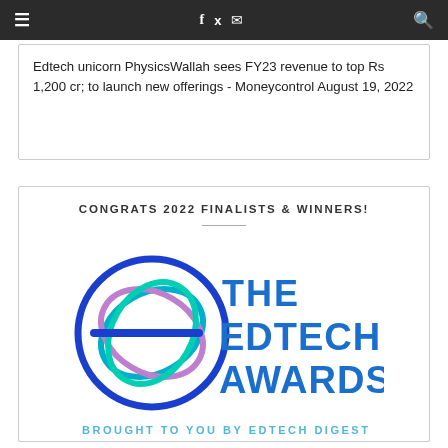≡   f  🐦  ✉   🔍
Edtech unicorn PhysicsWallah sees FY23 revenue to top Rs 1,200 cr; to launch new offerings - Moneycontrol August 19, 2022
CONGRATS 2022 FINALISTS & WINNERS!
[Figure (logo): The EdTech Awards logo - a stylized letter E formed by overlapping colorful circles (blue, teal, purple) with the text 'THE EDTECH AWARDS' in blue and 'BROUGHT TO YOU BY EDTECH DIGEST' in light blue below]